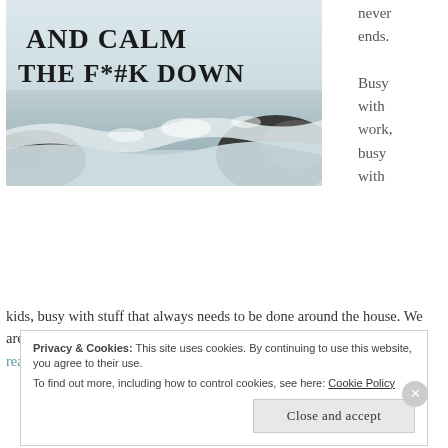[Figure (photo): Ocean waves crashing over rocky coastline, black and white/muted tones, with bold serif text overlay reading 'AND CALM THE F*#K DOWN']
never ends. Busy with work, busy with kids, busy with stuff that always needs to be done around the house. We are always rushing. Always trying to get all the 'stuff' done. Continue reading →
Privacy & Cookies: This site uses cookies. By continuing to use this website, you agree to their use. To find out more, including how to control cookies, see here: Cookie Policy
Close and accept